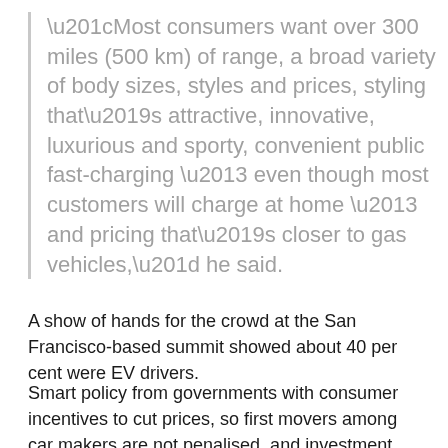“Most consumers want over 300 miles (500 km) of range, a broad variety of body sizes, styles and prices, styling that’s attractive, innovative, luxurious and sporty, convenient public fast-charging – even though most customers will charge at home – and pricing that’s closer to gas vehicles,” he said.
A show of hands for the crowd at the San Francisco-based summit showed about 40 per cent were EV drivers.
Smart policy from governments with consumer incentives to cut prices, so first movers among car makers are not penalised, and investment tax credits to support manufacturing were also recommended.